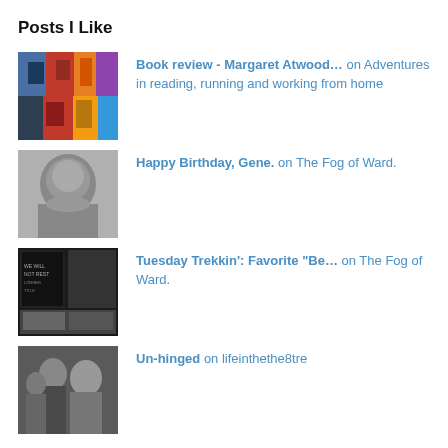Posts I Like
Book review - Margaret Atwood… on Adventures in reading, running and working from home
Happy Birthday, Gene. on The Fog of Ward.
Tuesday Trekkin': Favorite "Be… on The Fog of Ward.
Un-hinged on lifeinthethe8tre